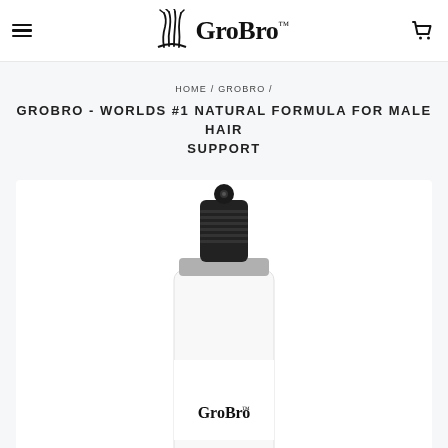GroBro™ navigation header with hamburger menu and cart icon
HOME / GROBRO / GROBRO - WORLDS #1 NATURAL FORMULA FOR MALE HAIR SUPPORT
GROBRO - WORLDS #1 NATURAL FORMULA FOR MALE HAIR SUPPORT
[Figure (photo): GroBro product bottle — white spray bottle with black pump cap and GroBro™ branding on the label, shown from above the mid-section, cropped at the bottom]